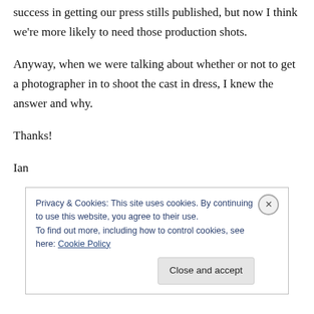success in getting our press stills published, but now I think we're more likely to need those production shots.
Anyway, when we were talking about whether or not to get a photographer in to shoot the cast in dress, I knew the answer and why.
Thanks!
Ian
Privacy & Cookies: This site uses cookies. By continuing to use this website, you agree to their use.
To find out more, including how to control cookies, see here: Cookie Policy